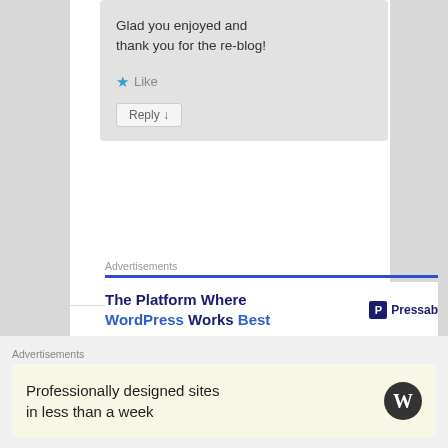Glad you enjoyed and thank you for the re-blog!
★ Like
Reply ↓
Advertisements
[Figure (screenshot): WordPress Pressable advertisement banner: 'The Platform Where WordPress Works Best' with Pressable logo]
[Figure (screenshot): Partial user avatar card with grey placeholder image]
Advertisements
[Figure (screenshot): WordPress advertisement banner: 'Professionally designed sites in less than a week' with WordPress logo]